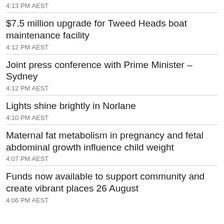4:13 PM AEST
$7.5 million upgrade for Tweed Heads boat maintenance facility
4:12 PM AEST
Joint press conference with Prime Minister – Sydney
4:12 PM AEST
Lights shine brightly in Norlane
4:10 PM AEST
Maternal fat metabolism in pregnancy and fetal abdominal growth influence child weight
4:07 PM AEST
Funds now available to support community and create vibrant places 26 August
4:06 PM AEST